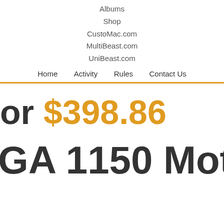Albums
Shop
CustoMac.com
MultiBeast.com
UniBeast.com
Home  Activity  Rules  Contact Us
or $398.86
GA 1150 Motherb